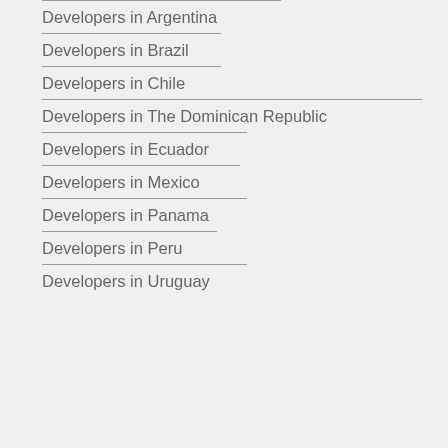Developers in Argentina
Developers in Brazil
Developers in Chile
Developers in The Dominican Republic
Developers in Ecuador
Developers in Mexico
Developers in Panama
Developers in Peru
Developers in Uruguay